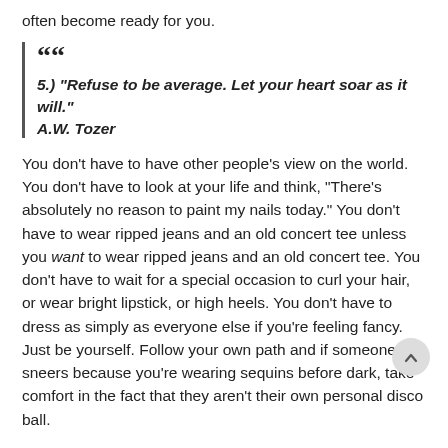often become ready for you.
5.) "Refuse to be average. Let your heart soar as it will." A.W. Tozer
You don't have to have other people's view on the world. You don't have to look at your life and think, "There's absolutely no reason to paint my nails today." You don't have to wear ripped jeans and an old concert tee unless you want to wear ripped jeans and an old concert tee. You don't have to wait for a special occasion to curl your hair, or wear bright lipstick, or high heels. You don't have to dress as simply as everyone else if you're feeling fancy. Just be yourself. Follow your own path and if someone sneers because you're wearing sequins before dark, take comfort in the fact that they aren't their own personal disco ball.
I hope I've helped to explain why I consider it worthwhile to wear